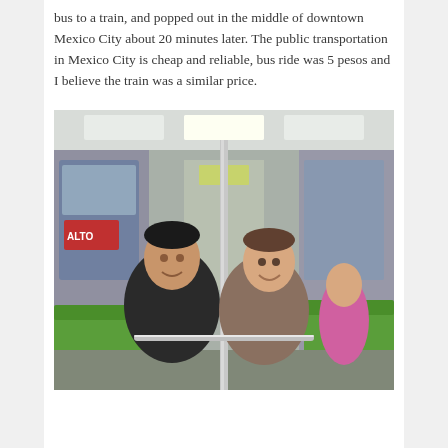bus to a train, and popped out in the middle of downtown Mexico City about 20 minutes later. The public transportation in Mexico City is cheap and reliable, bus ride was 5 pesos and I believe the train was a similar price.
[Figure (photo): Two men sitting on a Mexico City subway train, smiling at the camera. The interior of the metro car is visible with green seats, chrome poles, and fluorescent lighting. Other passengers are seated in the background.]